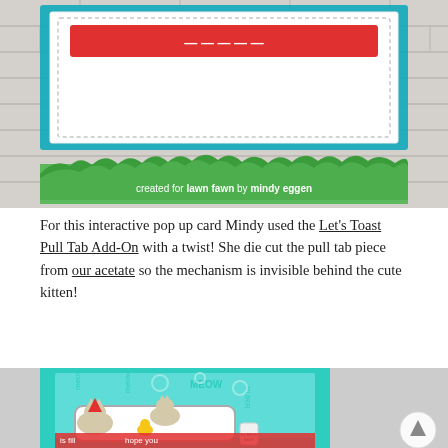[Figure (photo): Photo of a handmade interactive pop-up card on a white brick background, featuring a teal/green banner at the bottom with grass silhouette and text 'created for lawn fawn by mindy eggen']
For this interactive pop up card Mindy used the Let's Toast Pull Tab Add-On with a twist! She die cut the pull tab piece from our acetate so the mechanism is invisible behind the cute kitten!
[Figure (photo): Close-up photo of a teal handmade card featuring cute kittens in a bathtub with bubbles, with text 'meow', 'purr', 'MEOW' on the background, and bottom text 'hope you' and 'is fill' visible, with a bubble bath bottle in the corner]